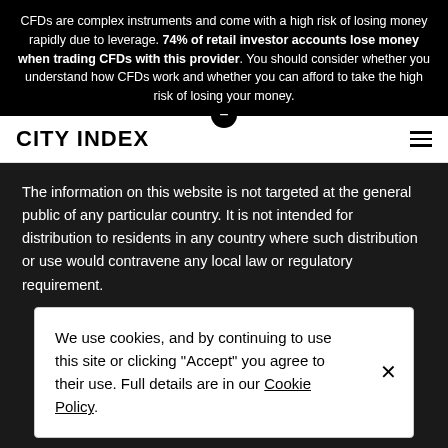CFDs are complex instruments and come with a high risk of losing money rapidly due to leverage. 74% of retail investor accounts lose money when trading CFDs with this provider. You should consider whether you understand how CFDs work and whether you can afford to take the high risk of losing your money.
CITY INDEX
The information on this website is not targeted at the general public of any particular country. It is not intended for distribution to residents in any country where such distribution or use would contravene any local law or regulatory requirement.
We use cookies, and by continuing to use this site or clicking "Accept" you agree to their use. Full details are in our Cookie Policy.
Open account